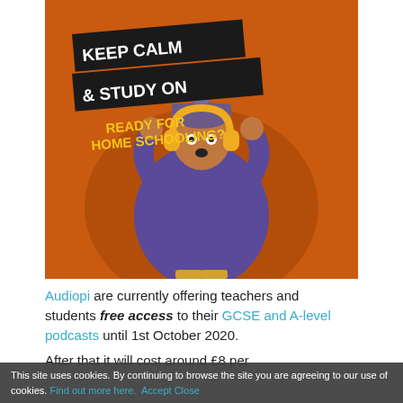[Figure (illustration): Promotional poster with orange background showing a person wearing a purple sweater and knit hat with large gold headphones, hands raised to their head in surprise. Black banner text reads 'KEEP CALM & STUDY ON' in white bold font. Yellow text reads 'READY FOR HOME SCHOOLING?']
Audiopi are currently offering teachers and students free access to their GCSE and A-level podcasts until 1st October 2020.
After that it will cost around £8 per
This site uses cookies. By continuing to browse the site you are agreeing to our use of cookies. Find out more here. Accept Close